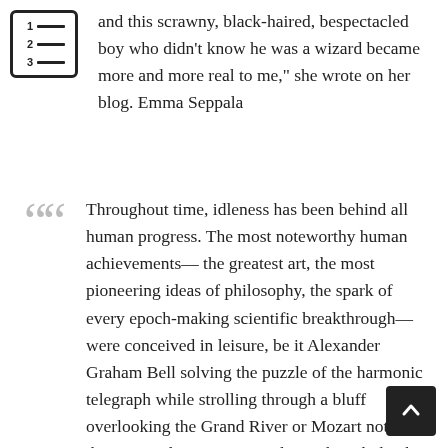[Figure (other): Table of contents icon: a bordered box with numbered lines representing a list (1, 2, 3 with horizontal bars)]
and this scrawny, black-haired, bespectacled boy who didn't know he was a wizard became more and more real to me," she wrote on her blog. Emma Seppala
Throughout time, idleness has been behind all human progress. The most noteworthy human achievements— the greatest art, the most pioneering ideas of philosophy, the spark of every epoch-making scientific breakthrough—were conceived in leisure, be it Alexander Graham Bell solving the puzzle of the harmonic telegraph while strolling through a bluff overlooking the Grand River or Mozart noting that is was during promenades in the park that his ideas flowed most
[Figure (other): Back to top navigation button: dark square with white upward chevron arrow]